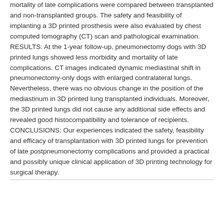mortality of late complications were compared between transplanted and non-transplanted groups. The safety and feasibility of implanting a 3D printed prosthesis were also evaluated by chest computed tomography (CT) scan and pathological examination. RESULTS: At the 1-year follow-up, pneumonectomy dogs with 3D printed lungs showed less morbidity and mortality of late complications. CT images indicated dynamic mediastinal shift in pneumonectomy-only dogs with enlarged contralateral lungs. Nevertheless, there was no obvious change in the position of the mediastinum in 3D printed lung transplanted individuals. Moreover, the 3D printed lungs did not cause any additional side effects and revealed good histocompatibility and tolerance of recipients. CONCLUSIONS: Our experiences indicated the safety, feasibility and efficacy of transplantation with 3D printed lungs for prevention of late postpneumonectomy complications and provided a practical and possibly unique clinical application of 3D printing technology for surgical therapy.